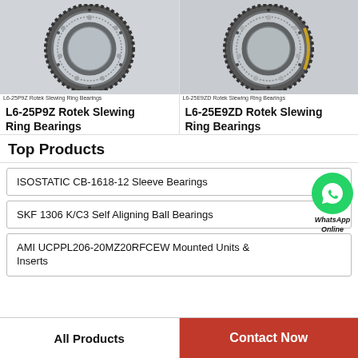[Figure (photo): L6-25P9Z Rotek Slewing Ring Bearing product photo showing a large ring gear bearing]
L6-25P9Z Rotek Slewing Ring Bearings
L6-25P9Z Rotek Slewing Ring Bearings
[Figure (photo): L6-25E9ZD Rotek Slewing Ring Bearing product photo showing a large ring gear bearing]
L6-25E9ZD Rotek Slewing Ring Bearings
L6-25E9ZD Rotek Slewing Ring Bearings
Top Products
ISOSTATIC CB-1618-12 Sleeve Bearings
[Figure (logo): WhatsApp Online contact bubble with green phone icon]
SKF 1306 K/C3 Self Aligning Ball Bearings
AMI UCPPL206-20MZ20RFCEW Mounted Units & Inserts
All Products | Contact Now